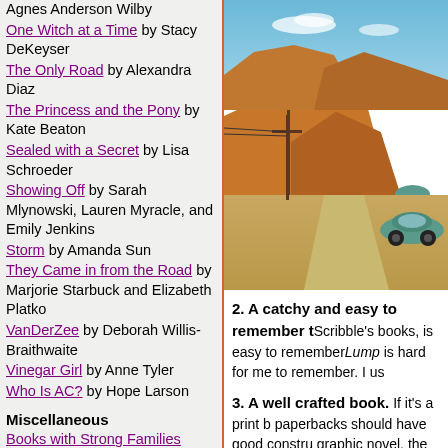Agnes Anderson Wilby
One Witch at a Time by Stacy DeKeyser
The Only Road by Alexandra Diaz
The Princess and the Pony by Kate Beaton
Sealed with a Secret by Lisa Schroeder
Showing Off by Sarah Mlynowski, Lauren Myracle, and Emily Jenkins
Storm by Amanda Sun
They Came in from the Road by Marjorie Starbuck and Elizabeth Platko
VanDerZee by Deborah Willis-Braithwaite
Vinegar Girl by Anne Tyler
Who Is AC? by Hope Larson
Miscellaneous
Books with Strong Families Collaboration
Half year round-up - Favorite books read in 2017
It's Monday! What Are You
[Figure (photo): Photo of a desert road scene with mesas, power poles, and a VW Beetle car on a highway]
2. A catchy and easy to remember t... Scribble's books, is easy to remember... Lump is hard for me to remember. I us...
3. A well crafted book. If it's a print b... paperbacks should have good constru... graphic novel, the images should be h... should have an engaging narrator who... of breath or bored.